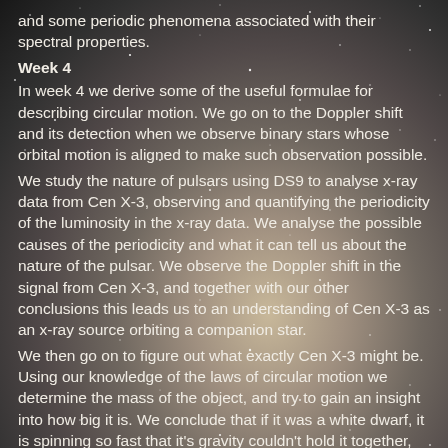and some periodic phenomena associated with their spectral properties.
Week 4
In week 4 we derive some of the useful formulae for describing circular motion. We go on to the Doppler shift and its detection when we observe binary stars whose orbital motion is aligned to make such observation possible.
We study the nature of pulsars using DS9 to analyse x-ray data from Cen X-3, observing and quantifying the periodicity of the luminosity in the x-ray data. We analyse the possible causes of the periodicity and what it can tell us about the nature of the pulsar. We observe the Doppler shift in the signal from Cen X-3, and together with our other conclusions this leads us to an understanding of Cen X-3 as an x-ray source orbiting a companion star.
We then go on to figure out what exactly Cen X-3 might be. Using our knowledge of the laws of circular motion we determine the mass of the object, and try to gain an insight into how big it is. We conclude that if it was a white dwarf, it is spinning so fast that it's gravity couldn't hold it together, but if it's a neutron star, its gravity would be sufficient.
We then go on to investigate what mechanism leads to the